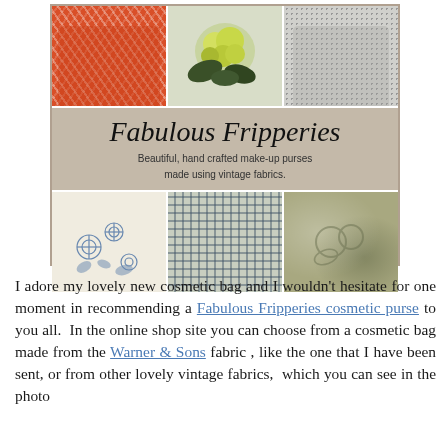[Figure (photo): Advertisement for Fabulous Fripperies showing six handcrafted cosmetic bags made from vintage fabrics. Top row shows three bags: orange/coral patterned, green floral (hydrangea), and grey textured. Middle section shows the brand name 'Fabulous Fripperies' in cursive with tagline 'Beautiful, hand crafted make-up purses made using vintage fabrics.' Bottom row shows three flat cosmetic bags: blue floral toile, blue geometric checker pattern, and green vintage floral.]
I adore my lovely new cosmetic bag and I wouldn't hesitate for one moment in recommending a Fabulous Fripperies cosmetic purse to you all.  In the online shop site you can choose from a cosmetic bag made from the Warner & Sons fabric , like the one that I have been sent, or from other lovely vintage fabrics,  which you can see in the photo